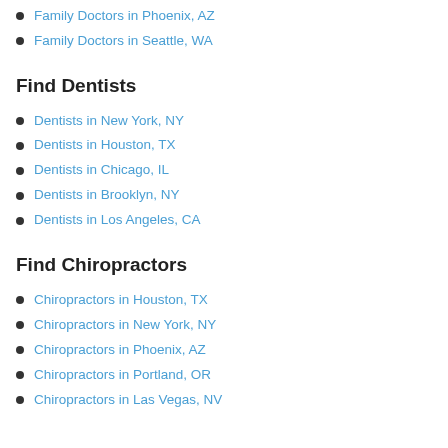Family Doctors in Phoenix, AZ
Family Doctors in Seattle, WA
Find Dentists
Dentists in New York, NY
Dentists in Houston, TX
Dentists in Chicago, IL
Dentists in Brooklyn, NY
Dentists in Los Angeles, CA
Find Chiropractors
Chiropractors in Houston, TX
Chiropractors in New York, NY
Chiropractors in Phoenix, AZ
Chiropractors in Portland, OR
Chiropractors in Las Vegas, NV